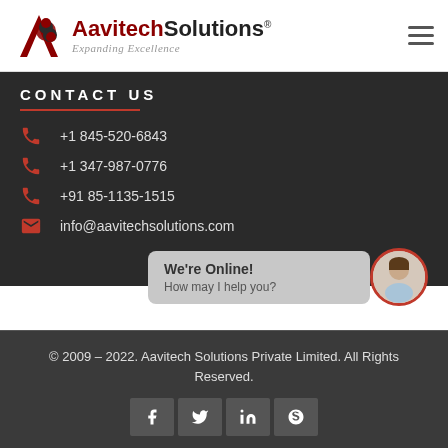AavitechSolutions® — Expanding Excellence
CONTACT US
+1 845-520-6843
+1 347-987-0776
+91 85-1135-1515
info@aavitechsolutions.com
[Figure (screenshot): We're Online! How may I help you? chat bubble with avatar]
© 2009 – 2022. Aavitech Solutions Private Limited. All Rights Reserved.